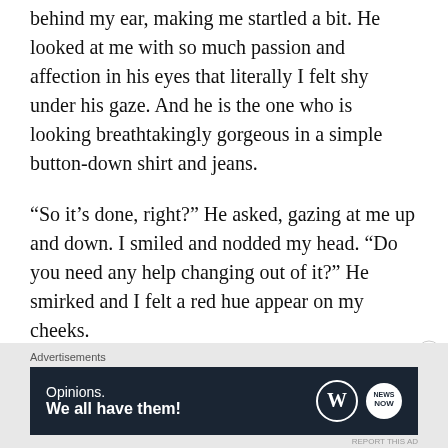behind my ear, making me startled a bit. He looked at me with so much passion and affection in his eyes that literally I felt shy under his gaze. And he is the one who is looking breathtakingly gorgeous in a simple button-down shirt and jeans.
“So it’s done, right?” He asked, gazing at me up and down. I smiled and nodded my head. “Do you need any help changing out of it?” He smirked and I felt a red hue appear on my cheeks.
Advertisements
[Figure (other): WordPress ad banner with dark navy background. Text reads 'Opinions. We all have them!' with WordPress logo (W in circle) and another circular logo on the right.]